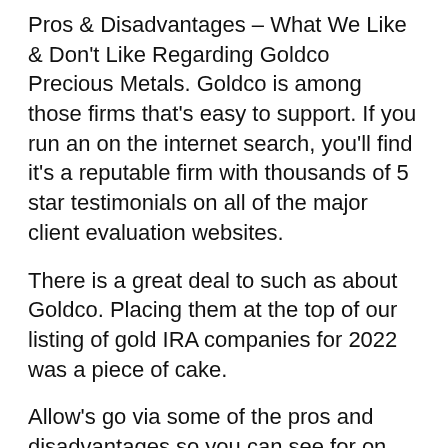Pros & Disadvantages – What We Like & Don't Like Regarding Goldco Precious Metals. Goldco is among those firms that's easy to support. If you run an on the internet search, you'll find it's a reputable firm with thousands of 5 star testimonials on all of the major client evaluation websites.
There is a great deal to such as about Goldco. Placing them at the top of our listing of gold IRA companies for 2022 was a piece of cake.
Allow's go via some of the pros and disadvantages so you can see for on your own where we provided the company high – as well as reduced – marks.